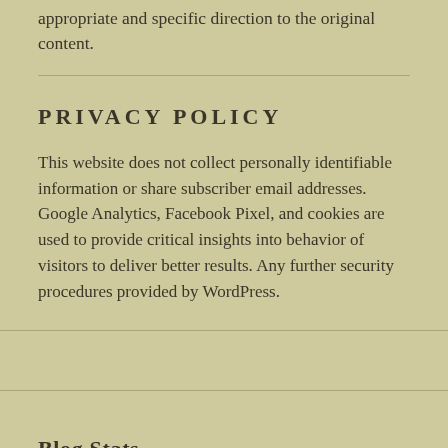appropriate and specific direction to the original content.
PRIVACY POLICY
This website does not collect personally identifiable information or share subscriber email addresses. Google Analytics, Facebook Pixel, and cookies are used to provide critical insights into behavior of visitors to deliver better results. Any further security procedures provided by WordPress.
Blog Stats